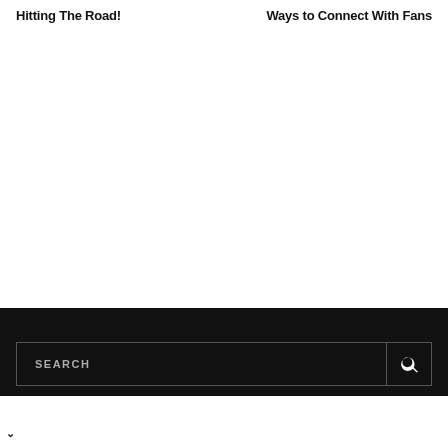Hitting The Road!
Ways to Connect With Fans
SEARCH